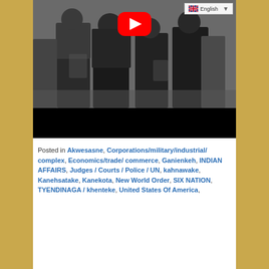[Figure (screenshot): YouTube video thumbnail showing figures in dark clothing, with a red YouTube play button overlay and an English language selector dropdown in the top right corner. The bottom portion of the video area is black.]
Posted in Akwesasne, Corporations/military/industrial/ complex, Economics/trade/ commerce, Ganienkeh, INDIAN AFFAIRS, Judges / Courts / Police / UN, kahnawake, Kanehsatake, Kanekota, New World Order, SIX NATION, TYENDINAGA / khenteke, United States Of America,